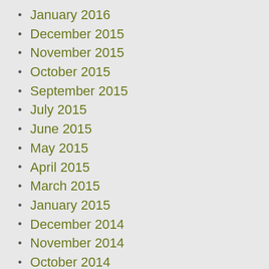January 2016
December 2015
November 2015
October 2015
September 2015
July 2015
June 2015
May 2015
April 2015
March 2015
January 2015
December 2014
November 2014
October 2014